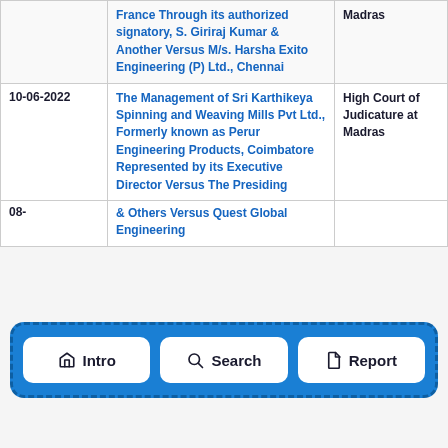| Date | Case | Court |
| --- | --- | --- |
|  | France Through its authorized signatory, S. Giriraj Kumar & Another Versus M/s. Harsha Exito Engineering (P) Ltd., Chennai | Madras |
| 10-06-2022 | The Management of Sri Karthikeya Spinning and Weaving Mills Pvt Ltd., Formerly known as Perur Engineering Products, Coimbatore Represented by its Executive Director Versus The Presiding | High Court of Judicature at Madras |
| 08- | & Others Versus Quest Global Engineering |  |
[Figure (infographic): Navigation bar with three buttons: Intro (home icon), Search (magnifying glass icon), Report (document icon), displayed on a blue dashed-border background overlay]